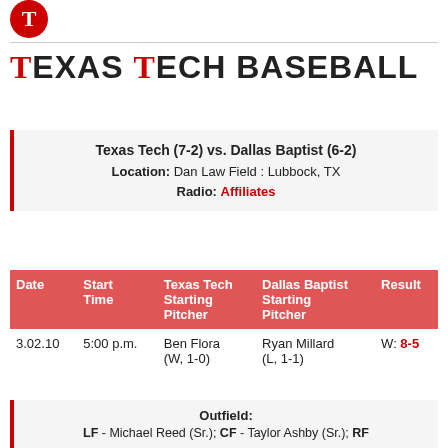[Figure (logo): Texas Tech partial logo (red circle/T shape) in top left corner]
TEXAS TECH BASEBALL
Texas Tech (7-2) vs. Dallas Baptist (6-2)
Location: Dan Law Field : Lubbock, TX
Radio: Affiliates
| Date | Start Time | Texas Tech Starting Pitcher | Dallas Baptist Starting Pitcher | Result |
| --- | --- | --- | --- | --- |
| 3.02.10 | 5:00 p.m. | Ben Flora (W, 1-0) | Ryan Millard (L, 1-1) | W: 8-5 |
Outfield:
LF - Michael Reed (Sr.); CF - Taylor Ashby (Sr.); RF